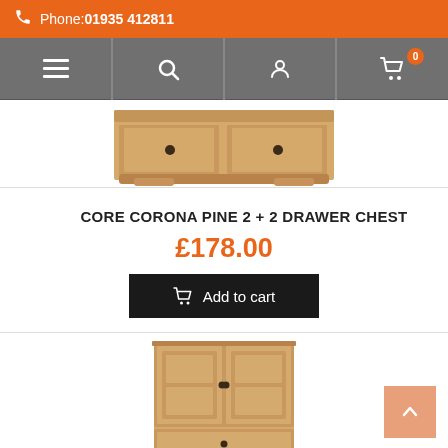Phone: 01935 412811
[Figure (screenshot): Navigation bar with hamburger menu, search, account, and cart icons on grey background]
[Figure (photo): Core Corona Pine 2+2 Drawer Chest furniture product image showing top portion of the wooden chest]
CORE CORONA PINE 2 + 2 DRAWER CHEST
£178.00
Add to cart
[Figure (photo): Pine wood wardrobe with two doors on top and two drawers on bottom, natural light wood finish]